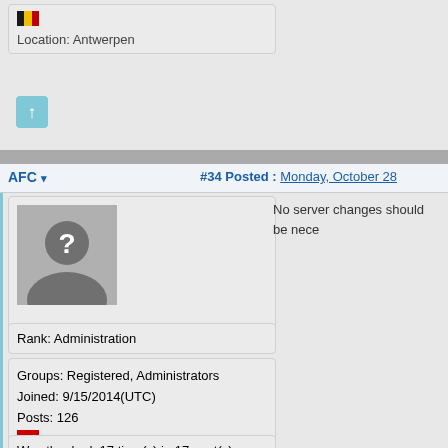[Figure (illustration): Belgian flag icon (black, yellow, red vertical stripes)]
Location: Antwerpen
[Figure (other): Up arrow button (teal/blue rounded square with white up arrow)]
AFC ▾
#34 Posted : Monday, October 28
[Figure (photo): Default user avatar: silhouette of a person with question mark on grey background]
Rank: Administration
Groups: Registered, Administrators
Joined: 9/15/2014(UTC)
Posts: 126
[Figure (illustration): Austrian flag icon (red, white, red horizontal stripes)]
Was thanked: 17 time(s) in 17 post(s)
No server changes should be nece